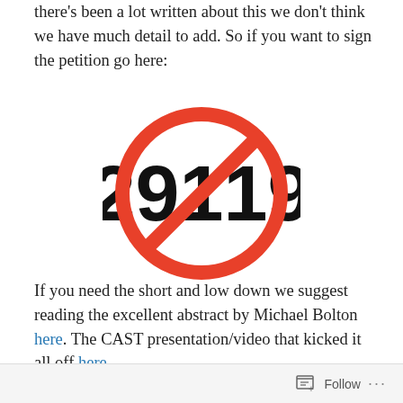there's been a lot written about this we don't think we have much detail to add. So if you want to sign the petition go here:
[Figure (illustration): A red prohibition/no symbol (circle with diagonal line through it) overlaid on the number 29119 in large black text]
If you need the short and low down we suggest reading the excellent abstract by Michael Bolton here. The CAST presentation/video that kicked it all off here.
Also see our original post from way back when here. For
Follow ...